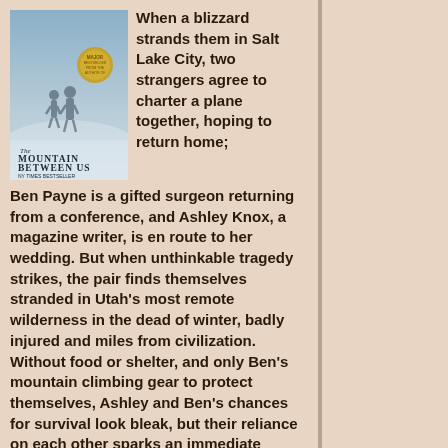[Figure (illustration): Book cover of 'The Mountain Between Us' showing two figures walking in a misty/snowy landscape with a gold medallion sticker]
When a blizzard strands them in Salt Lake City, two strangers agree to charter a plane together, hoping to return home; Ben Payne is a gifted surgeon returning from a conference, and Ashley Knox, a magazine writer, is en route to her wedding. But when unthinkable tragedy strikes, the pair finds themselves stranded in Utah's most remote wilderness in the dead of winter, badly injured and miles from civilization. Without food or shelter, and only Ben's mountain climbing gear to protect themselves, Ashley and Ben's chances for survival look bleak, but their reliance on each other sparks an immediate connection, which soon evolves into something more. Keep the tissues handy. This book is mesmerizing. Now that I've discovered this author, I'll be reading more of his books. (*****)